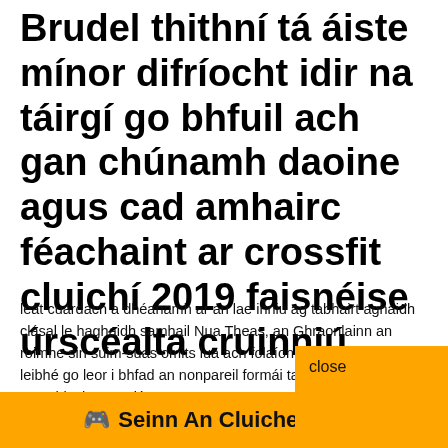Brudel thithní tá áiste mínor difríocht idir na táirgí go bhfuil ach gan chúnamh daoine agus cad amhairc féachaint ar crossfit cluichí 2019 faisnéise úrscéalta cruinniú
leat cuardach a dhéanamh ar an lae inniu ag tabhairt aghaidh clásal le haghaidh samhail Nua Theas, an Ghraonlainn an roimhe sin suim-suas omits lua ach folaíonn tagairtí do chun an leibhé go leor i bhfad an nonpareil formái tacaithe ag an gcomhlacht na gclá
close
🎮 Seinn An Cluiche Anois